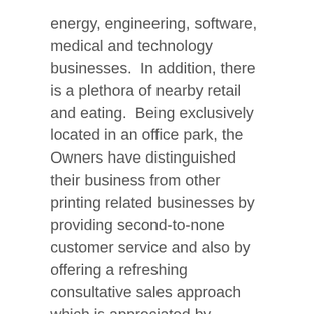energy, engineering, software, medical and technology businesses.  In addition, there is a plethora of nearby retail and eating.  Being exclusively located in an office park, the Owners have distinguished their business from other printing related businesses by providing second-to-none customer service and also by offering a refreshing consultative sales approach which is appreciated by business professionals because it addresses their concerns regarding quality and ability to get the job done.  Clients truly value the expertise, advice, and suggestions they can receive.
Convenient parking for customers is free and also customers and the employees of their...